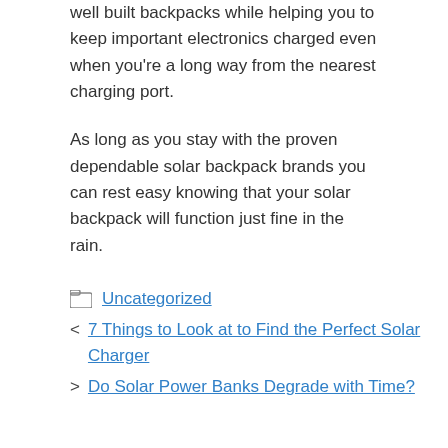well built backpacks while helping you to keep important electronics charged even when you’re a long way from the nearest charging port.
As long as you stay with the proven dependable solar backpack brands you can rest easy knowing that your solar backpack will function just fine in the rain.
Uncategorized
‹ 7 Things to Look at to Find the Perfect Solar Charger
› Do Solar Power Banks Degrade with Time?